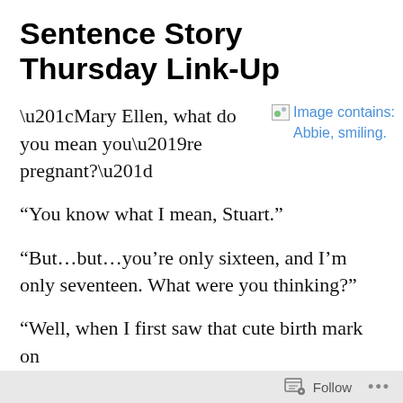Sentence Story Thursday Link-Up
[Figure (photo): Image contains: Abbie, smiling.]
“Mary Ellen, what do you mean you’re pregnant?”
“You know what I mean, Stuart.”
“But…but…you’re only sixteen, and I’m only seventeen. What were you thinking?”
“Well, when I first saw that cute birth mark on
Follow ...